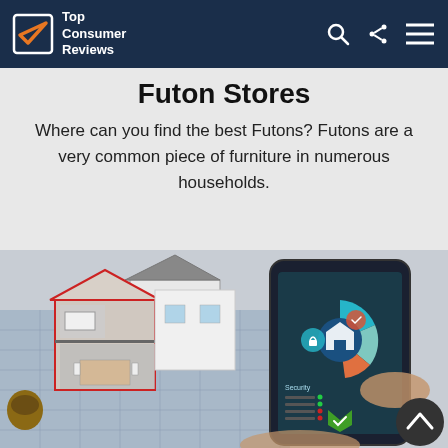Top Consumer Reviews
Futon Stores
Where can you find the best Futons? Futons are a very common piece of furniture in numerous households.
[Figure (photo): A smart home security app displayed on a smartphone, with a 3D cutaway model of a house showing interior rooms and architectural blueprints in the background. A hand is interacting with the phone screen showing a home security dashboard with colored pie-chart-style icons and a security status list.]